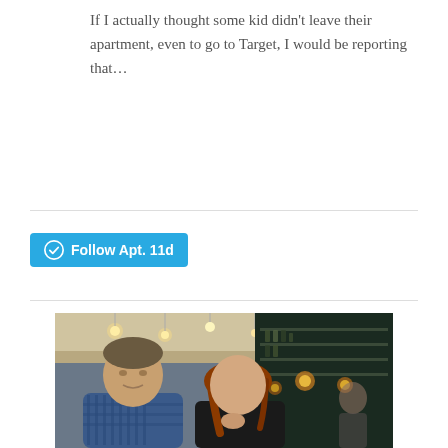If I actually thought some kid didn't leave their apartment, even to go to Target, I would be reporting that...
[Figure (other): WordPress Follow button with 'Follow Apt. 11d' text on cyan/blue background]
[Figure (photo): Photo of a man and woman sitting together in an elegantly lit restaurant or bar with warm Edison bulb lighting overhead. Man is on the left wearing a blue plaid shirt; woman is on the right with reddish hair, leaning her chin on her hand.]